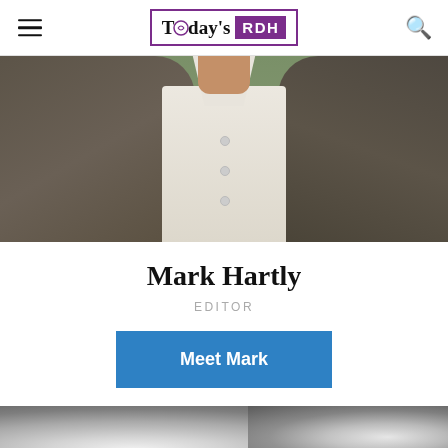Today's RDH
[Figure (photo): Profile photo of Mark Hartly, showing torso in a grey/brown blazer over a light dress shirt, cropped at chest level]
Mark Hartly
EDITOR
Meet Mark
[Figure (photo): Partial black and white photo at bottom of page, content not fully visible]